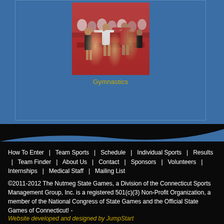[Figure (photo): Gymnastics competition photo showing gymnasts on a red apparatus with audience in background]
Gymnastics
How To Enter | Team Sports | Schedule | Individual Sports | Results | Team Finder | About Us | Contact | Sponsors | Volunteers | Internships | Medical Staff | Mailing List
©2011-2012 The Nutmeg State Games, a Division of the Connecticut Sports Management Group, Inc. is a registered 501(c)(3) Non-Profit Organization, a member of the National Congress of State Games and the Official State Games of Connecticut! - Website developed and designed by JumpStart